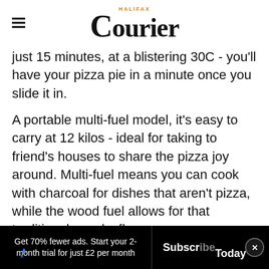HALIFAX Courier
just 15 minutes, at a blistering 30C - you'll have your pizza pie in a minute once you slide it in.
A portable multi-fuel model, it's easy to carry at 12 kilos - ideal for taking to friend's houses to share the pizza joy around. Multi-fuel means you can cook with charcoal for dishes that aren't pizza, while the wood fuel allows for that traditional, smoky flavour.
The b[est pizza]za
[Figure (other): Advertisement overlay: Back To School Essentials ad with green checkmark for in-store shopping, infinity logo icon, and navigation arrow icon]
Get 70% fewer ads. Start your 2-month trial for just £2 per month
Subscribe Today